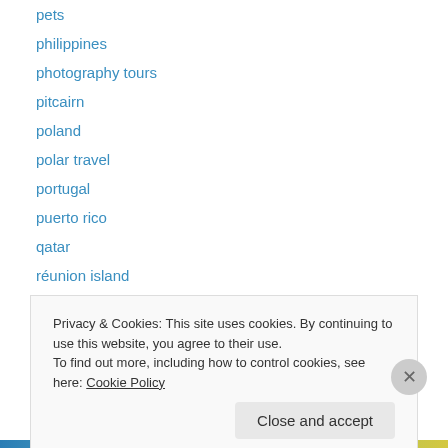pets
philippines
photography tours
pitcairn
poland
polar travel
portugal
puerto rico
qatar
réunion island
rhode island
road travel
romania
Privacy & Cookies: This site uses cookies. By continuing to use this website, you agree to their use.
To find out more, including how to control cookies, see here: Cookie Policy
Close and accept